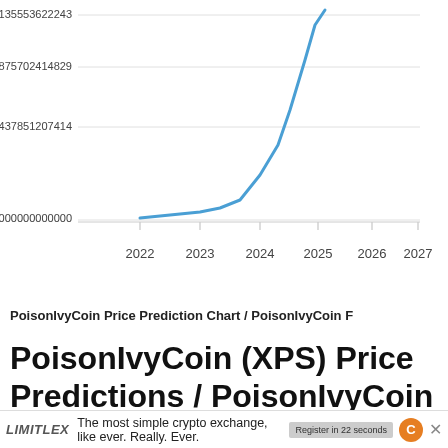[Figure (line-chart): PoisonIvyCoin Price Prediction Chart / PoisonIvyCoin F]
PoisonIvyCoin Price Prediction Chart / PoisonIvyCoin F
PoisonIvyCoin (XPS) Price Predictions / PoisonIvyCoin (XPS) Forecast